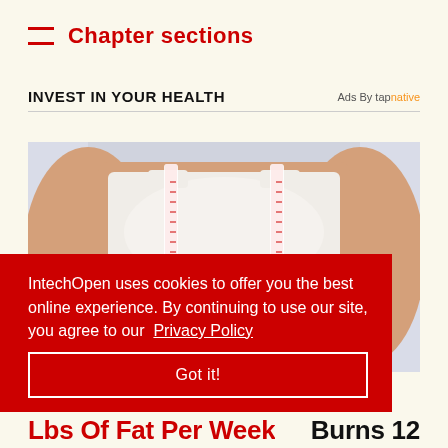Chapter sections
INVEST IN YOUR HEALTH
Ads By tapnative
[Figure (photo): Person wearing white sports bra with measuring tape wrapped around torso, shown from shoulders to waist, light blue/grey background]
IntechOpen uses cookies to offer you the best online experience. By continuing to use our site, you agree to our Privacy Policy
Got it!
Burns 12
Lbs Of Fat Per Week